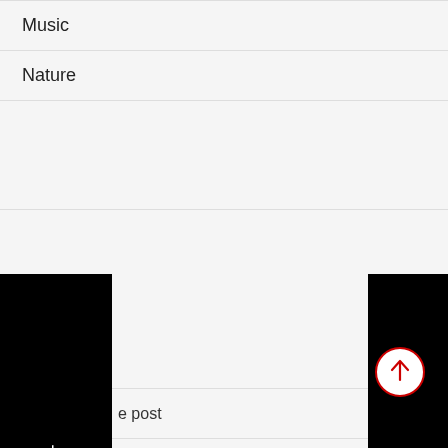Music
Nature
Shopping
Sports
Tech
[Figure (other): PREVIOUS POST navigation panel on left side, black background with white vertical text]
[Figure (other): NEXT POST navigation panel on right side, black background with white vertical text]
e post
[Figure (other): Scroll to top button: red circle with upward arrow]